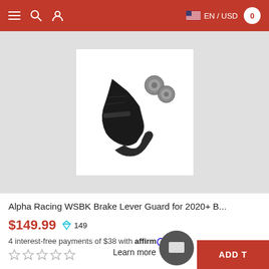≡  🔍  👤    🇺🇸 EN / USD   0
[Figure (photo): Alpha Racing WSBK Brake Lever Guard product photo showing black lever guard and two silver bolt caps on white background]
Alpha Racing WSBK Brake Lever Guard for 2020+ B...
$149.99  💎 149
4 interest-free payments of $38 with affirm. Learn more
★ ★ ★ ★ ★
ADD T